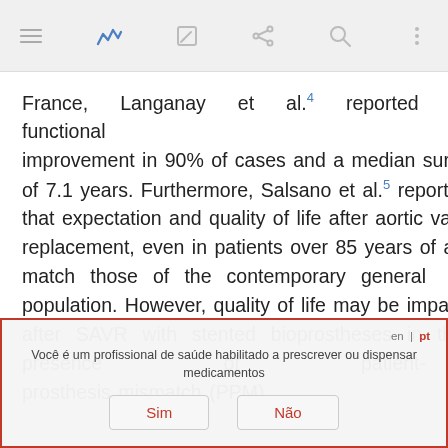Toolbar with navigation icons
France, Langanay et al.4 reported functional improvement in 90% of cases and a median survival of 7.1 years. Furthermore, Salsano et al.5 reported that expectation and quality of life after aortic valve replacement, even in patients over 85 years of age, match those of the contemporary general population. However, quality of life may be impaired after SAVR with stented bioprostheses in the presence of patient-prosthesis mismatch (PPM),
Você é um profissional de saúde habilitado a prescrever ou dispensar medicamentos